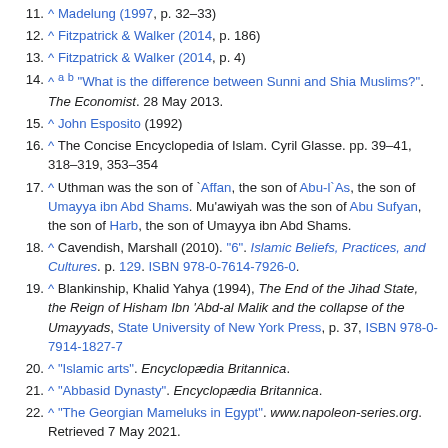11. ^ Madelung (1997, p. 32–33)
12. ^ Fitzpatrick & Walker (2014, p. 186)
13. ^ Fitzpatrick & Walker (2014, p. 4)
14. ^ a b "What is the difference between Sunni and Shia Muslims?". The Economist. 28 May 2013.
15. ^ John Esposito (1992)
16. ^ The Concise Encyclopedia of Islam. Cyril Glasse. pp. 39–41, 318–319, 353–354
17. ^ Uthman was the son of `Affan, the son of Abu-l`As, the son of Umayya ibn Abd Shams. Mu'awiyah was the son of Abu Sufyan, the son of Harb, the son of Umayya ibn Abd Shams.
18. ^ Cavendish, Marshall (2010). "6". Islamic Beliefs, Practices, and Cultures. p. 129. ISBN 978-0-7614-7926-0.
19. ^ Blankinship, Khalid Yahya (1994), The End of the Jihad State, the Reign of Hisham Ibn 'Abd-al Malik and the collapse of the Umayyads, State University of New York Press, p. 37, ISBN 978-0-7914-1827-7
20. ^ "Islamic arts". Encyclopædia Britannica.
21. ^ "Abbasid Dynasty". Encyclopædia Britannica.
22. ^ "The Georgian Mameluks in Egypt". www.napoleon-series.org. Retrieved 7 May 2021.
23. ^ "THE MAMLUKS". Egyptian History. Retrieved 7 May 2021.
24. ^ Kennedy, Hugh N. (2001). The Historiography of Islamic Egypt: (c.